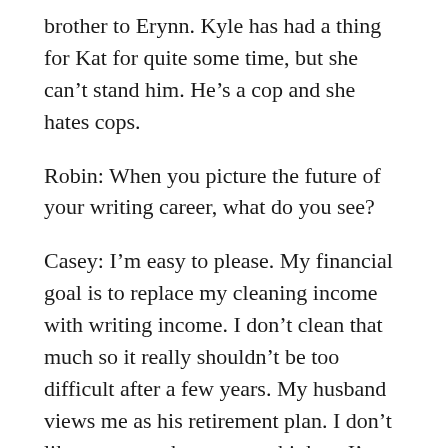brother to Erynn. Kyle has had a thing for Kat for quite some time, but she can't stand him. He's a cop and she hates cops.
Robin: When you picture the future of your writing career, what do you see?
Casey: I'm easy to please. My financial goal is to replace my cleaning income with writing income. I don't clean that much so it really shouldn't be too difficult after a few years. My husband views me as his retirement plan. I don't like to get my hopes up to high so I'm not disappointed. He thinks I'm going to take off with this, he's supportive like that!
I want to increase my output. I want to be able to put